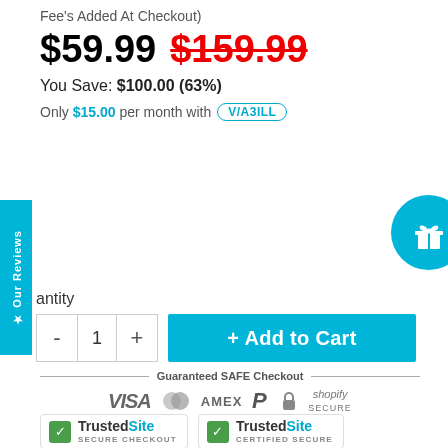Fee's Added At Checkout)
$59.99  $159.99
You Save: $100.00 (63%)
Only $15.00 per month with VIABILL
antity
- 1 +
+ Add to Cart
Guaranteed SAFE Checkout
[Figure (logo): Payment icons: VISA, Mastercard, AMEX, PayPal, lock, Shopify Secure]
[Figure (logo): TrustedSite SECURE CHECKOUT badge]
[Figure (logo): TrustedSite CERTIFIED SECURE badge]